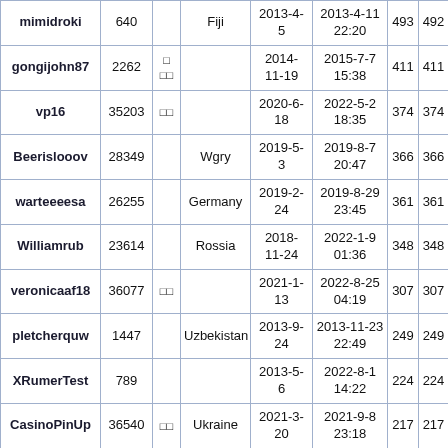| Username | ID |  | Country | Reg Date | Last Active | Col1 | Col2 |
| --- | --- | --- | --- | --- | --- | --- | --- |
| mimidroki | 640 |  | Fiji | 2013-4-5 | 2013-4-11 22:20 | 493 | 492 |
| gongijohn87 | 2262 | □ □□ |  | 2014-11-19 | 2015-7-7 15:38 | 411 | 411 |
| vp16 | 35203 | □□ |  | 2020-6-18 | 2022-5-2 18:35 | 374 | 374 |
| Beerislooov | 28349 |  | Wgry | 2019-5-3 | 2019-8-7 20:47 | 366 | 366 |
| warteeeesa | 26255 |  | Germany | 2019-2-24 | 2019-8-29 23:45 | 361 | 361 |
| Williamrub | 23614 |  | Rossia | 2018-11-24 | 2022-1-9 01:36 | 348 | 348 |
| veronicaaf18 | 36077 | □□ |  | 2021-1-13 | 2022-8-25 04:19 | 307 | 307 |
| pletcherquw | 1447 |  | Uzbekistan | 2013-9-24 | 2013-11-23 22:49 | 249 | 249 |
| XRumerTest | 789 |  |  | 2013-5-6 | 2022-8-1 14:22 | 224 | 224 |
| CasinoPinUp | 36540 | □□ | Ukraine | 2021-3-20 | 2021-9-8 23:18 | 217 | 217 |
| Irrasesharo | 1159 | □□ | Nigeria | 2013-7-8 | 2013-7-27 14:18 | 210 | 209 |
|  |  |  |  | 2019- | 2022-2-23 |  |  |